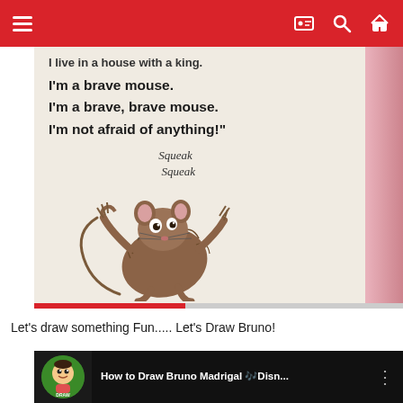Navigation bar with hamburger menu, profile, search, and home icons
[Figure (screenshot): Photo of a children's book page showing bold text: 'I live in a house with a king. I'm a brave mouse. I'm a brave, brave mouse. I'm not afraid of anything!' with 'Squeak Squeak' italic text and an illustration of a scared mouse jumping up]
Let's draw something Fun..... Let's Draw Bruno!
[Figure (screenshot): YouTube video thumbnail showing 'How to Draw Bruno Madrigal 🎶Disn...' with Draw So Cute channel logo (green circle with cartoon character)]